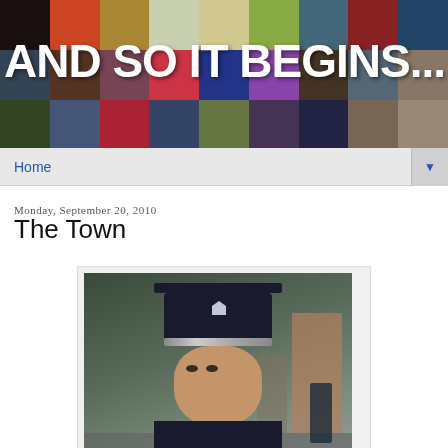[Figure (photo): Blog header banner with mosaic of movie stills and the text 'AND SO IT BEGINS...' overlaid in large white bold letters]
Home
Monday, September 20, 2010
The Town
[Figure (photo): Photo of a man dressed as a police officer in uniform with cap, looking intensely at the camera, with a street and brick building in the background]